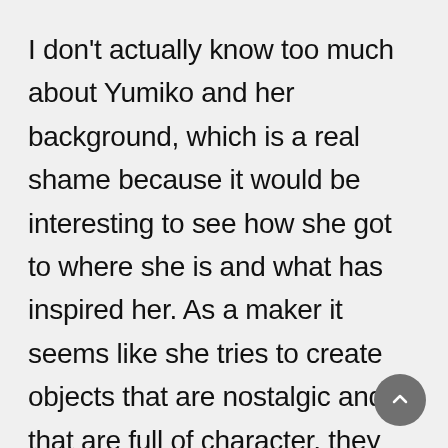I don't actually know too much about Yumiko and her background, which is a real shame because it would be interesting to see how she got to where she is and what has inspired her. As a maker it seems like she tries to create objects that are nostalgic and that are full of character, they have that quirky feel. For example in these shots above and below the look is very much basic in terms of form and simplicity, mainly taking inspiration from how a human